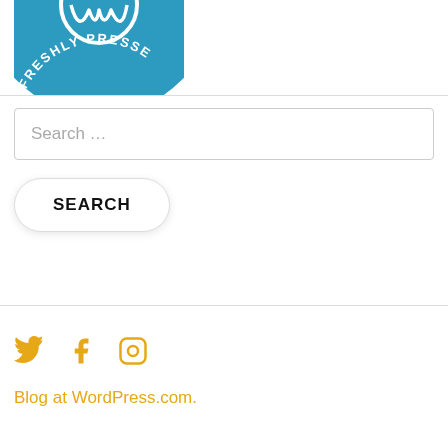[Figure (logo): Freshly Pressed badge logo - blue circular badge with white text and WordPress icon, cropped at top]
Search ...
SEARCH
[Figure (infographic): Social media icons: Twitter bird, Facebook f, Instagram camera - all in orange/gold color]
Blog at WordPress.com.